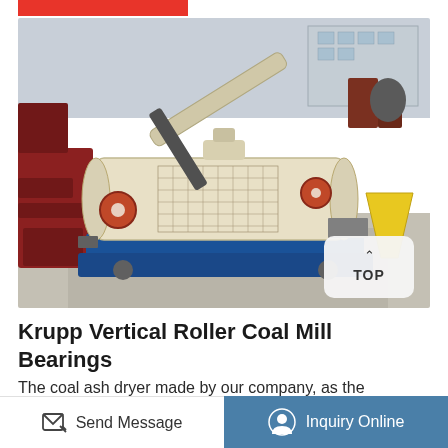[Figure (photo): Industrial coal mill machine (roller mill) in cream/beige color with blue base, sitting in an outdoor industrial yard. The machine has a large horizontal cylindrical body with grid mesh panels, red circular wheel on left side, a conveyor arm extending upward, and a yellow triangular stand to the right. Red heavy equipment visible on the left, industrial buildings in the background. A 'TOP' navigation button appears in the lower right of the image.]
Krupp Vertical Roller Coal Mill Bearings
The coal ash dryer made by our company, as the Chinese leading raw coal drying machine supplier
Send Message   Inquiry Online